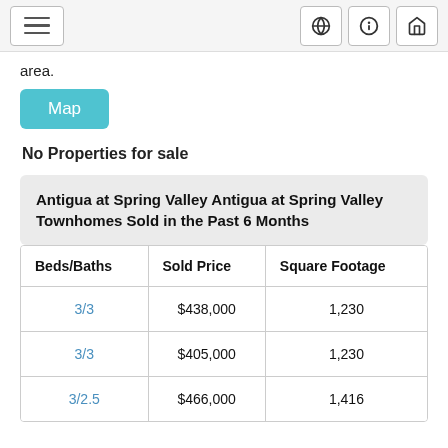Navigation bar with hamburger menu and globe, info, home icons
area.
Map
No Properties for sale
Antigua at Spring Valley Antigua at Spring Valley Townhomes Sold in the Past 6 Months
| Beds/Baths | Sold Price | Square Footage |
| --- | --- | --- |
| 3/3 | $438,000 | 1,230 |
| 3/3 | $405,000 | 1,230 |
| 3/2.5 | $466,000 | 1,416 |